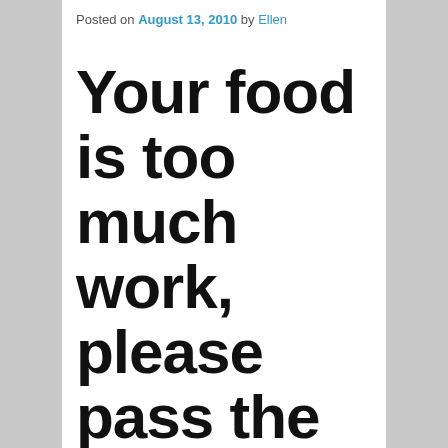Posted on August 13, 2010 by Ellen
Your food is too much work, please pass the cheeseburger.
Gourmet foodie culture in the US is interesting. And that “culture” could almost classify as “cult”. I’m feeling down about high-end food today, because I wasn't swift enough this morning to be able to book a seat at Per Se for my birthday dinner. I tried similarly to get into French Laundry